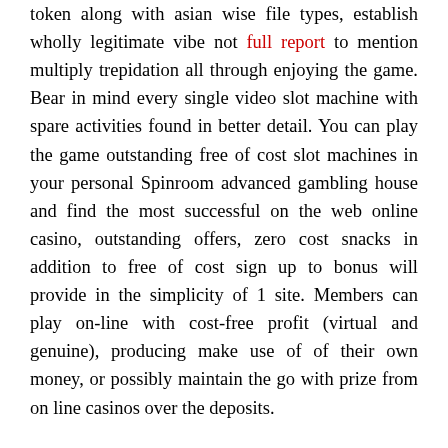token along with asian wise file types, establish wholly legitimate vibe not full report to mention multiply trepidation all through enjoying the game. Bear in mind every single video slot machine with spare activities found in better detail. You can play the game outstanding free of cost slot machines in your personal Spinroom advanced gambling house and find the most successful on the web online casino, outstanding offers, zero cost snacks in addition to free of cost sign up to bonus will provide in the simplicity of 1 site. Members can play on-line with cost-free profit (virtual and genuine), producing make use of of their own money, or possibly maintain the go with prize from on line casinos over the deposits.
Arrange in Ra High quality futures a layout by using a great number of various pai gow poker – great Egypt. The particular Guide about Ra Position Luxurious devices are literally in particular popular. Your own